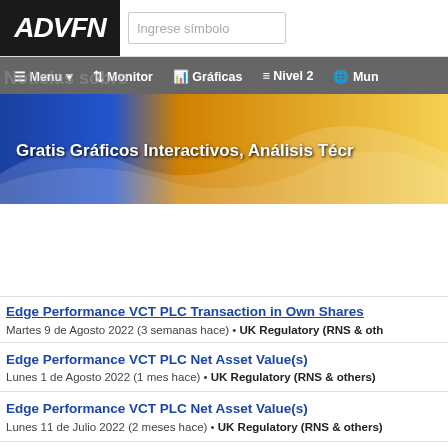ADVFN — Ingrese símbolo | Menu | Monitor | Gráficas | Nivel 2 | Mun...
[Figure (screenshot): ADVFN website banner: Gratis Gráficos Interactivos, Análisis Técn...]
Edge Performance VCT PLC Transaction in Own Shares — Martes 9 de Agosto 2022 (3 semanas hace) • UK Regulatory (RNS & oth...
Edge Performance VCT PLC Net Asset Value(s) — Lunes 1 de Agosto 2022 (1 mes hace) • UK Regulatory (RNS & others)
Edge Performance VCT PLC Net Asset Value(s) — Lunes 11 de Julio 2022 (2 meses hace) • UK Regulatory (RNS & others)
Edge Performance VCT PLC Director Declaration — Martes 5 de Julio 2022 (2 meses hace) • UK Regulatory (RNS & others)